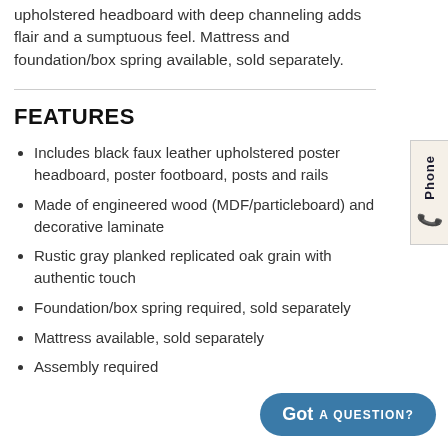upholstered headboard with deep channeling adds flair and a sumptuous feel. Mattress and foundation/box spring available, sold separately.
FEATURES
Includes black faux leather upholstered poster headboard, poster footboard, posts and rails
Made of engineered wood (MDF/particleboard) and decorative laminate
Rustic gray planked replicated oak grain with authentic touch
Foundation/box spring required, sold separately
Mattress available, sold separately
Assembly required